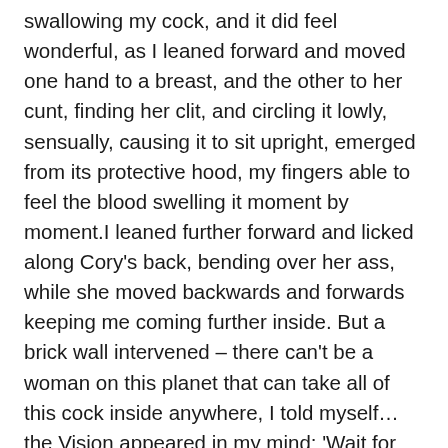swallowing my cock, and it did feel wonderful, as I leaned forward and moved one hand to a breast, and the other to her cunt, finding her clit, and circling it lowly, sensually, causing it to sit upright, emerged from its protective hood, my fingers able to feel the blood swelling it moment by moment.I leaned further forward and licked along Cory's back, bending over her ass, while she moved backwards and forwards keeping me coming further inside. But a brick wall intervened – there can't be a woman on this planet that can take all of this cock inside anywhere, I told myself…the Vision appeared in my mind: 'Wait for me' the Lady said, 'I am coming soon'.So, heeding that message, I gave Cory what she could take, slowly in and out, bringing her to a climax which didn't end, eliciting a building scream which I had to stifle by placing one of her own hands across her mouth. But I kept up with my gentle caressing of her breasts, and a slow in and out pulse